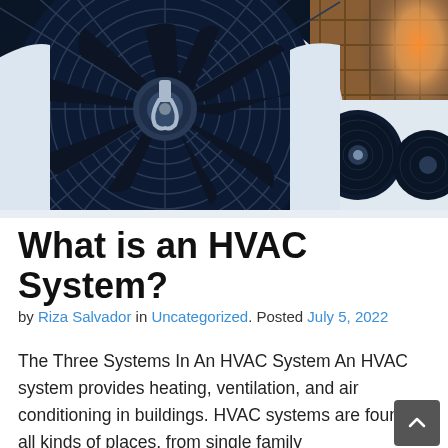[Figure (photo): Close-up photograph of large industrial HVAC fan units mounted outside a building. The foreground shows a large circular fan with dark blades in a metal housing. Background shows additional fan units and warm sunlight. Color palette is deep blue and orange tones.]
What is an HVAC System?
by Riza Salvador in Uncategorized. Posted July 5, 2022
The Three Systems In An HVAC System An HVAC system provides heating, ventilation, and air conditioning in buildings. HVAC systems are found in all kinds of places, from single family